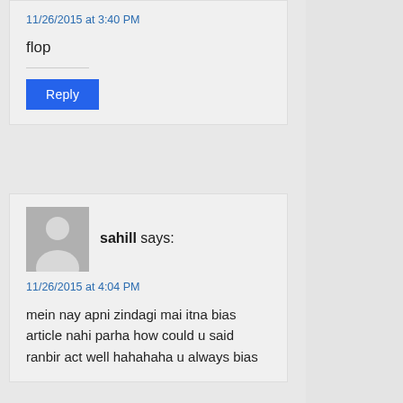11/26/2015 at 3:40 PM
flop
Reply
[Figure (illustration): Grey placeholder avatar icon showing a person silhouette]
sahill says:
11/26/2015 at 4:04 PM
mein nay apni zindagi mai itna bias article nahi parha how could u said ranbir act well hahahaha u always bias